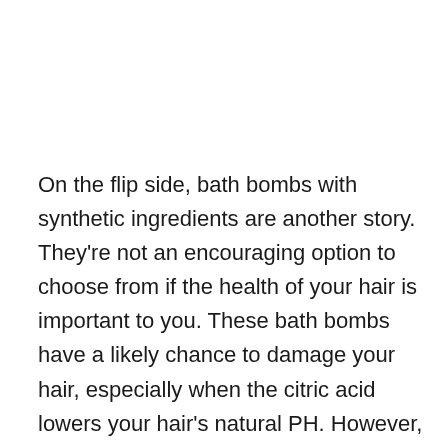On the flip side, bath bombs with synthetic ingredients are another story. They're not an encouraging option to choose from if the health of your hair is important to you. These bath bombs have a likely chance to damage your hair, especially when the citric acid lowers your hair's natural PH. However, you can avoid this by rinsing your hair after a bath. This way, you won't face any hair issues as most of the bath bomb ingredients dilute in the bathtub.